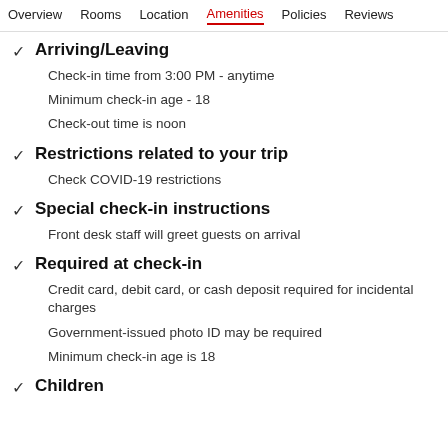Overview  Rooms  Location  Amenities  Policies  Reviews
Arriving/Leaving
Check-in time from 3:00 PM - anytime
Minimum check-in age - 18
Check-out time is noon
Restrictions related to your trip
Check COVID-19 restrictions
Special check-in instructions
Front desk staff will greet guests on arrival
Required at check-in
Credit card, debit card, or cash deposit required for incidental charges
Government-issued photo ID may be required
Minimum check-in age is 18
Children